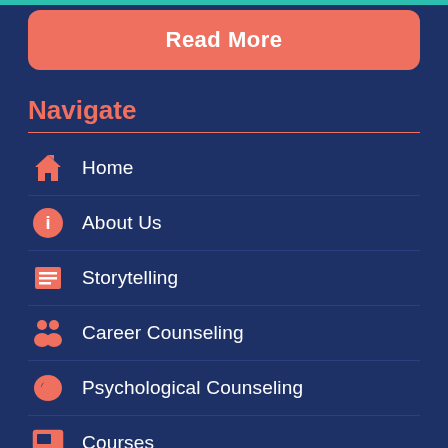Read More
Navigate
Home
About Us
Storytelling
Career Counseling
Psychological Counseling
Courses
Testimonials
Gallery